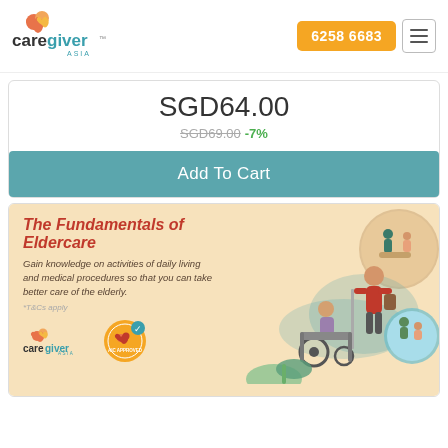[Figure (logo): CareGiver Asia logo with orange and teal heart icons]
6258 6683
SGD64.00
SGD69.00 -7%
Add To Cart
[Figure (illustration): The Fundamentals of Eldercare promotional banner with illustration of caregiver pushing elderly person in wheelchair, circular vignettes showing care scenes, CareGiver Asia logo, and AIC Approved badge]